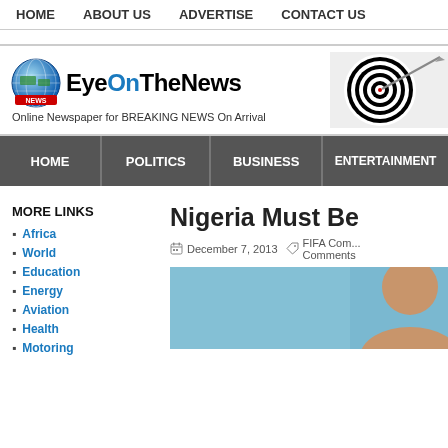HOME | ABOUT US | ADVERTISE | CONTACT US
[Figure (logo): EyeOnTheNews logo with globe icon and tagline: Online Newspaper for BREAKING NEWS On Arrival]
[Figure (photo): Dartboard with arrow hitting target - advertisement image]
HOME | POLITICS | BUSINESS | ENTERTAINMENT
MORE LINKS
Africa
World
Education
Energy
Aviation
Health
Motoring
Nigeria Must Be
December 7, 2013   FIFA Com... Comments
[Figure (photo): Partial photo of a person's head/face against a blue background]